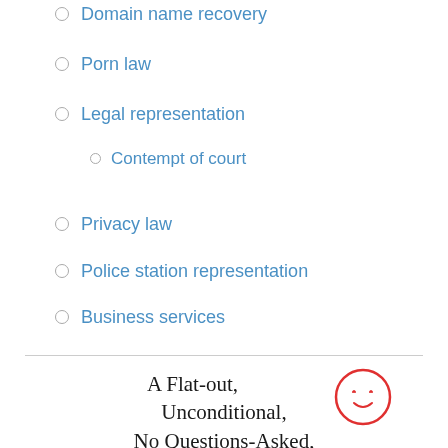Domain name recovery
Porn law
Legal representation
Contempt of court
Privacy law
Police station representation
Business services
[Figure (illustration): Handwritten-style text reading 'A Flat-out, Unconditional, No Questions-Asked, Money-Back GUARANTEE Consultation' with a red hand-drawn smiley face circle]